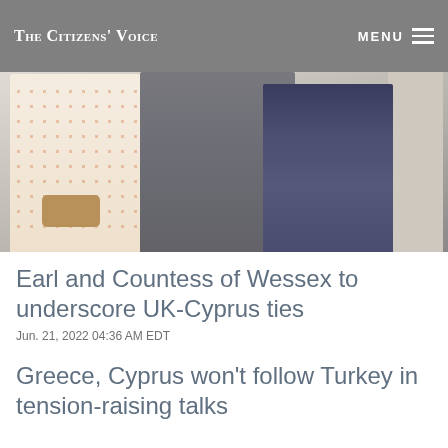The Citizens' Voice
[Figure (photo): Three people standing together — a woman in a floral dress holding a clutch, a man in a grey suit, and a woman in a dark navy outfit with a pearl necklace]
Earl and Countess of Wessex to underscore UK-Cyprus ties
Jun. 21, 2022 04:36 AM EDT
Greece, Cyprus won't follow Turkey in tension-raising talks